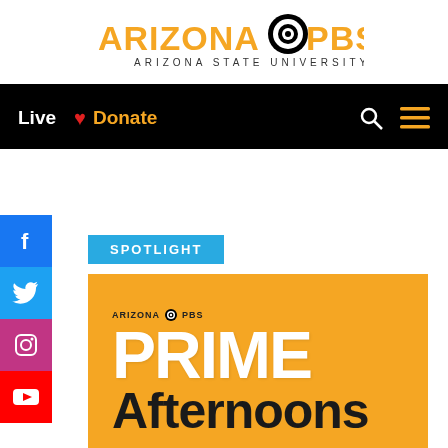ARIZONA PBS — ARIZONA STATE UNIVERSITY
Live  ♥ Donate
[Figure (logo): Arizona PBS logo with PBS eye icon and 'ARIZONA STATE UNIVERSITY' subtitle]
SPOTLIGHT
[Figure (photo): Arizona PBS Prime Afternoons promotional image on orange/yellow background with PRIME in white bold text and Afternoons in black bold text]
Enjoy PBS favorites all afternoon